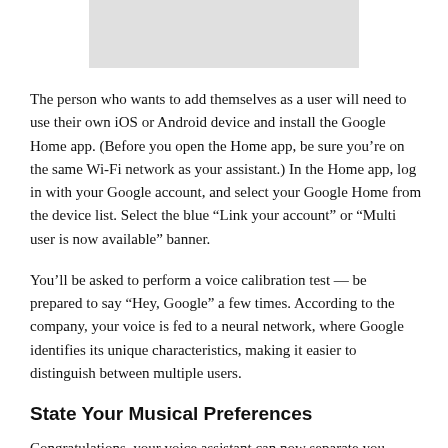[Figure (other): Gray rectangular image placeholder at top center of page]
The person who wants to add themselves as a user will need to use their own iOS or Android device and install the Google Home app. (Before you open the Home app, be sure you're on the same Wi-Fi network as your assistant.) In the Home app, log in with your Google account, and select your Google Home from the device list. Select the blue “Link your account” or “Multi user is now available” banner.
You’ll be asked to perform a voice calibration test — be prepared to say “Hey, Google” a few times. According to the company, your voice is fed to a neural network, where Google identifies its unique characteristics, making it easier to distinguish between multiple users.
State Your Musical Preferences
Congratulations, your voice assistant can now separate you